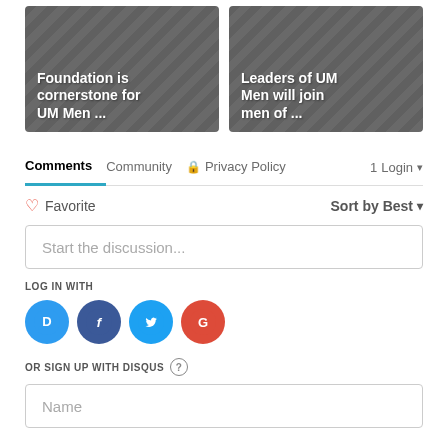[Figure (screenshot): Two article thumbnail cards with gray background and diagonal stripe texture. Left card text: 'Foundation is cornerstone for UM Men ...'. Right card text: 'Leaders of UM Men will join men of ...']
Comments   Community   🔒 Privacy Policy   1  Login ▾
♡ Favorite    Sort by Best ▾
Start the discussion...
LOG IN WITH
[Figure (logo): Social login icons: Disqus (blue circle with D), Facebook (dark blue circle with f), Twitter (light blue circle with bird), Google (red circle with G)]
OR SIGN UP WITH DISQUS ?
Name